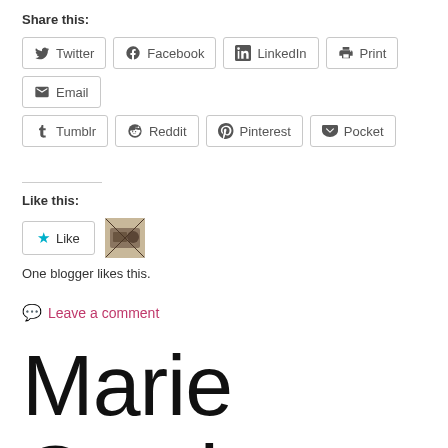Share this:
Twitter Facebook LinkedIn Print Email Tumblr Reddit Pinterest Pocket
Like this:
Like | One blogger likes this.
Leave a comment
Marie Octobre